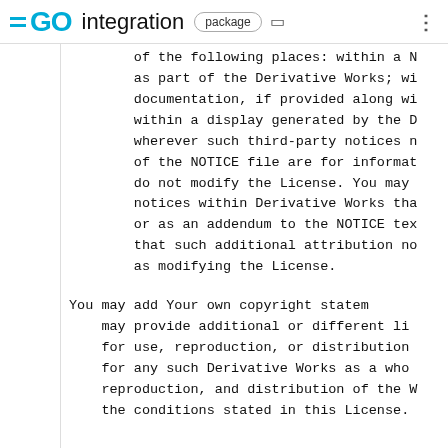GO integration package
of the following places: within a NOTICE text file distributed as part of the Derivative Works; within the Source form or documentation, if provided along with the Derivative Works; within a display generated by the Derivative Works, if and wherever such third-party notices normally appear. The contents of the NOTICE file are for informational purposes only and do not modify the License. You may add Your own attribution notices within Derivative Works that You distribute, alongside or as an addendum to the NOTICE text from the Work, provided that such additional attribution notices cannot be construed as modifying the License.
You may add Your own copyright statements to Your modifications and may provide additional or different license terms and conditions for use, reproduction, or distribution of Your modifications, or for any such Derivative Works as a whole, provided Your use, reproduction, and distribution of the Work otherwise complies with the conditions stated in this License.